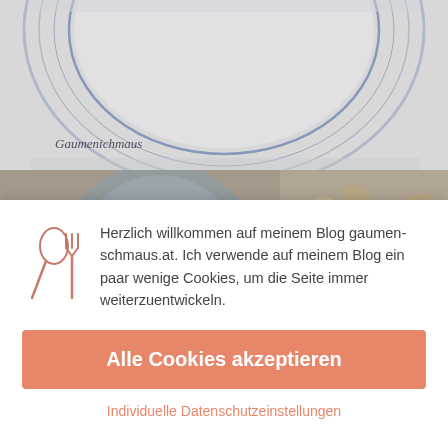[Figure (photo): Partial view of a decorative plate with a script logo reading 'Gaumenichmaus' on white/grey background]
[Figure (photo): Close-up photo of a clear food processor bowl with blades and mixed nuts (cashews, hazelnuts, peanuts) visible]
Herzlich willkommen auf meinem Blog gaumen-schmaus.at. Ich verwende auf meinem Blog ein paar wenige Cookies, um die Seite immer weiterzuentwickeln.
Alle Cookies akzeptieren
Individuelle Datenschutzeinstellungen